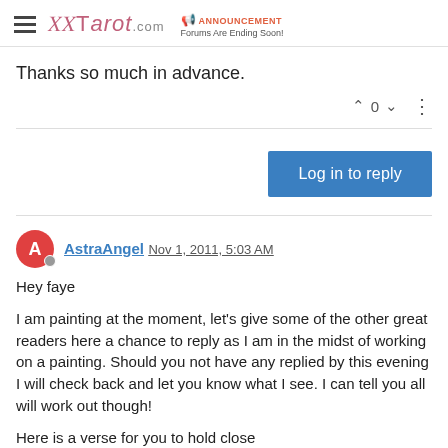Tarot.com | ANNOUNCEMENT Forums Are Ending Soon!
Thanks so much in advance.
0
Log in to reply
AstraAngel Nov 1, 2011, 5:03 AM
Hey faye
I am painting at the moment, let's give some of the other great readers here a chance to reply as I am in the midst of working on a painting. Should you not have any replied by this evening I will check back and let you know what I see. I can tell you all will work out though!
Here is a verse for you to hold close